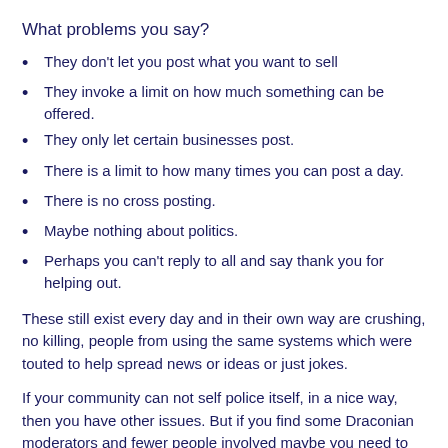What problems you say?
They don't let you post what you want to sell
They invoke a limit on how much something can be offered.
They only let certain businesses post.
There is a limit to how many times you can post a day.
There is no cross posting.
Maybe nothing about politics.
Perhaps you can't reply to all and say thank you for helping out.
These still exist every day and in their own way are crushing, no killing, people from using the same systems which were touted to help spread news or ideas or just jokes.
If your community can not self police itself, in a nice way, then you have other issues. But if you find some Draconian moderators and fewer people involved maybe you need to